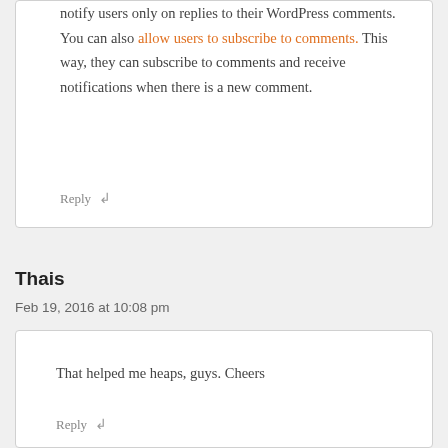notify users only on replies to their WordPress comments. You can also allow users to subscribe to comments. This way, they can subscribe to comments and receive notifications when there is a new comment.
Reply ↲
Thais
Feb 19, 2016 at 10:08 pm
That helped me heaps, guys. Cheers
Reply ↲